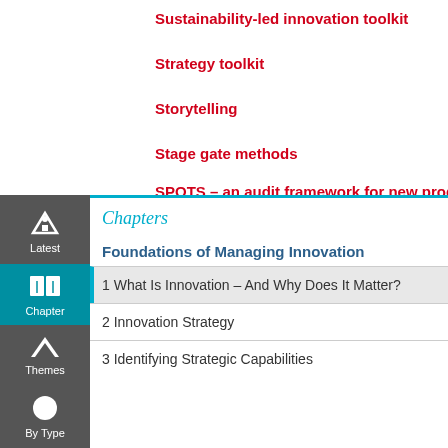Sustainability-led innovation toolkit
Strategy toolkit
Storytelling
Stage gate methods
SPOTS – an audit framework for new product or se
Chapters
Foundations of Managing Innovation
1 What Is Innovation – And Why Does It Matter?
2 Innovation Strategy
3 Identifying Strategic Capabilities